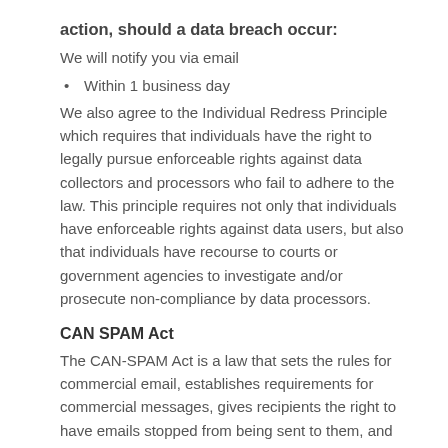action, should a data breach occur:
We will notify you via email
Within 1 business day
We also agree to the Individual Redress Principle which requires that individuals have the right to legally pursue enforceable rights against data collectors and processors who fail to adhere to the law. This principle requires not only that individuals have enforceable rights against data users, but also that individuals have recourse to courts or government agencies to investigate and/or prosecute non-compliance by data processors.
CAN SPAM Act
The CAN-SPAM Act is a law that sets the rules for commercial email, establishes requirements for commercial messages, gives recipients the right to have emails stopped from being sent to them, and spells out tough penalties for violations.